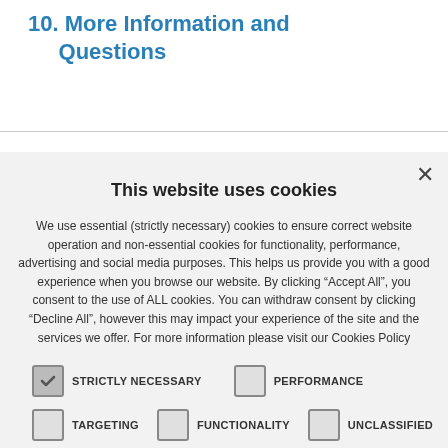10. More Information and Questions
This website uses cookies
We use essential (strictly necessary) cookies to ensure correct website operation and non-essential cookies for functionality, performance, advertising and social media purposes. This helps us provide you with a good experience when you browse our website. By clicking "Accept All", you consent to the use of ALL cookies. You can withdraw consent by clicking "Decline All", however this may impact your experience of the site and the services we offer. For more information please visit our Cookies Policy
STRICTLY NECESSARY | PERFORMANCE
TARGETING | FUNCTIONALITY | UNCLASSIFIED
ACCEPT ALL | DECLINE ALL
SHOW DETAILS